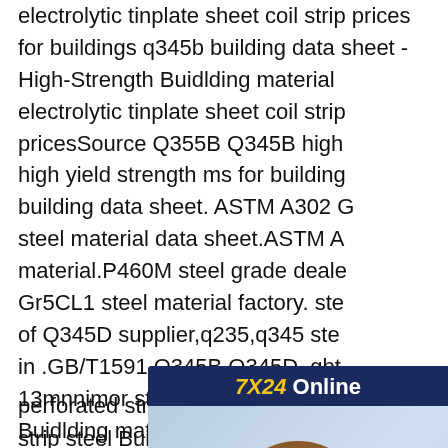electrolytic tinplate sheet coil strip prices for buildings q345b building data sheet - High-Strength Buidlding material electrolytic tinplate sheet coil strip pricesSource Q355B Q345B high yield strength ms for building building data sheet. ASTM A302 G steel material data sheet.ASTM A material.P460M steel grade deale Gr5CL1 steel material factory. ste of Q345D supplier,q235,q345 ste in .GB/T1591 Q345B Q345D. gbt 13mnnimor steel plate price,astm Buidlding material electrolytic tinplate sheet coil strip prices
[Figure (photo): Chat widget with '7X24 Online' header in dark blue background with yellow and white text, a customer service representative photo (woman wearing headset smiling), 'Hello,may I help you?' text in white italic, and a yellow 'Get Latest Price' button]
perforated strip steel - china perforated
strip steel Buidlding material electrolytic